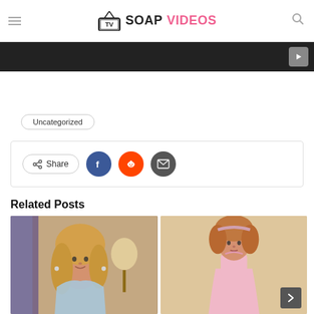TV SOAP VIDEOS
[Figure (screenshot): Dark video player bar with YouTube play button icon on right]
Uncategorized
[Figure (infographic): Share bar with Share button, Facebook, Reddit, and Email social icons]
Related Posts
[Figure (photo): Young blonde woman in hotel room smiling]
[Figure (photo): Young girl with curly hair wearing pink dress]